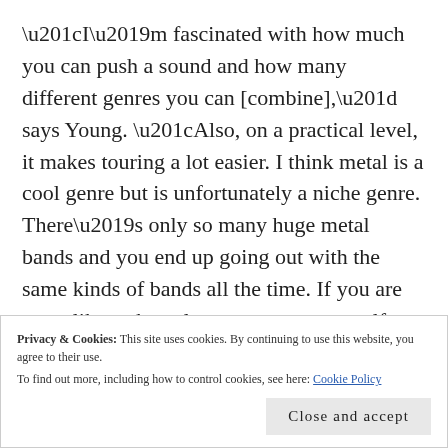“I’m fascinated with how much you can push a sound and how many different genres you can [combine],” says Young. “Also, on a practical level, it makes touring a lot easier. I think metal is a cool genre but is unfortunately a niche genre. There’s only so many huge metal bands and you end up going out with the same kinds of bands all the time. If you are more like a chameleon you open yourself up to more touring opportunities. I don’t write to open up more touring opportunities, I write because I really enjoy multiple styles of music and I want to do all of it in one.”
Privacy & Cookies: This site uses cookies. By continuing to use this website, you agree to their use.
To find out more, including how to control cookies, see here: Cookie Policy
Close and accept